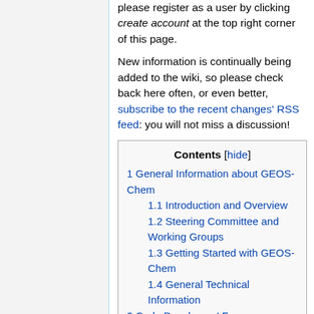please register as a user by clicking create account at the top right corner of this page.
New information is continually being added to the wiki, so please check back here often, or even better, subscribe to the recent changes' RSS feed: you will not miss a discussion!
1 General Information about GEOS-Chem
1.1 Introduction and Overview
1.2 Steering Committee and Working Groups
1.3 Getting Started with GEOS-Chem
1.4 General Technical Information
2 Code Developers' Forums
2.1 Coding
2.2 Diagnostics
2.3 Emissions